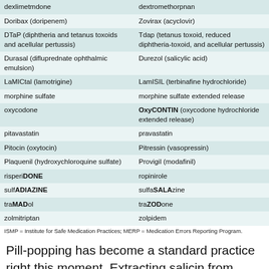| Drug Name 1 | Drug Name 2 |
| --- | --- |
| dexlimetmdone | dextromethorpnan |
| Doribax (doripenem) | Zovirax (acyclovir) |
| DTaP (diphtheria and tetanus toxoids and acellular pertussis) | Tdap (tetanus toxoid, reduced diphtheria-toxoid, and acellular pertussis) |
| Durasal (difluprednate ophthalmic emulsion) | Durezol (salicylic acid) |
| LaMICtal (lamotrigine) | LamISIL (terbinafine hydrochloride) |
| morphine sulfate | morphine sulfate extended release |
| oxycodone | OxyCONTIN (oxycodone hydrochloride extended release) |
| pitavastatin | pravastatin |
| Pitocin (oxytocin) | Pitressin (vasopressin) |
| Plaquenil (hydroxychloroquine sulfate) | Provigil (modafinil) |
| risperiDONE | ropinirole |
| sulfADIAZINE | sulfaSALAzine |
| traMADol | traZODone |
| zolmitriptan | zolpidem |
ISMP = Institute for Safe Medication Practices; MERP = Medication Errors Reporting Program.
Pill-popping has become a standard practice right this moment. Extracting salicin from herbs was thought-about to be expensive and time-consuming, so a synthetic salicylic acid version was developed in Germany in 1852 and quickly turned the remedy of selection (salicin is transformed in the body to